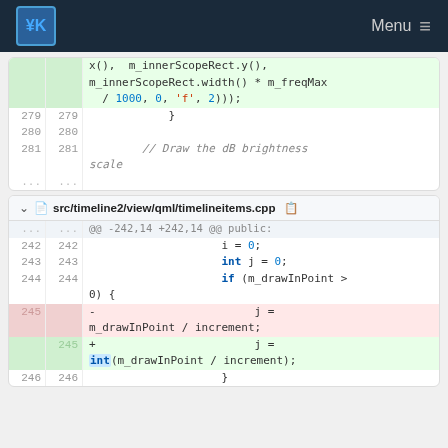KDE Menu
Code diff block 1: m_innerScopeRect.width() * m_freqMax / 1000, 0, 'f', 2)));
279  }
280
281  // Draw the dB brightness scale
...
src/timeline2/view/qml/timelineitems.cpp
@@ -242,14 +242,14 @@ public:
242  i = 0;
243  int j = 0;
244  if (m_drawInPoint > 0) {
245  -  j = m_drawInPoint / increment;
245  +  j = int(m_drawInPoint / increment);
246